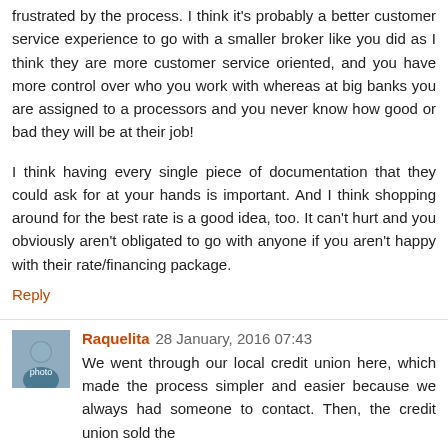frustrated by the process. I think it's probably a better customer service experience to go with a smaller broker like you did as I think they are more customer service oriented, and you have more control over who you work with whereas at big banks you are assigned to a processors and you never know how good or bad they will be at their job!
I think having every single piece of documentation that they could ask for at your hands is important. And I think shopping around for the best rate is a good idea, too. It can't hurt and you obviously aren't obligated to go with anyone if you aren't happy with their rate/financing package.
Reply
Raquelita 28 January, 2016 07:43
We went through our local credit union here, which made the process simpler and easier because we always had someone to contact. Then, the credit union sold the